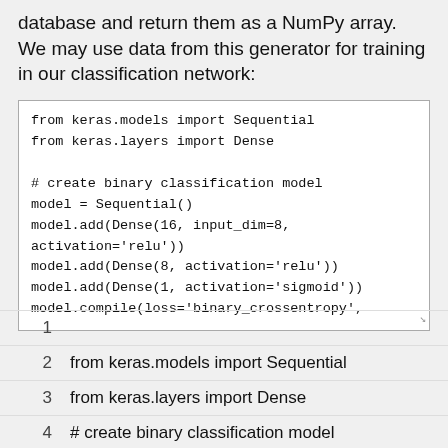database and return them as a NumPy array. We may use data from this generator for training in our classification network:
from keras.models import Sequential
from keras.layers import Dense

# create binary classification model
model = Sequential()
model.add(Dense(16, input_dim=8,
activation='relu'))
model.add(Dense(8, activation='relu'))
model.add(Dense(1, activation='sigmoid'))
model.compile(loss='binary_crossentropy',
1
2      from keras.models import Sequential
3      from keras.layers import Dense
4      # create binary classification model
5      model = Sequential()